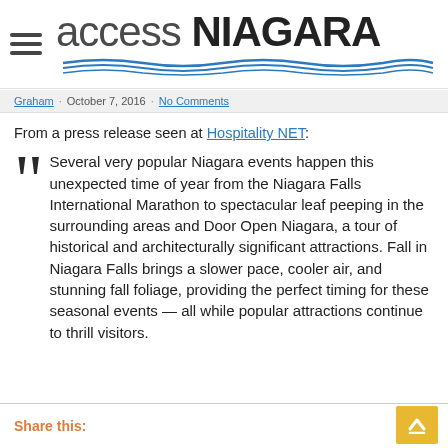access NIAGARA
Graham · October 7, 2016 · No Comments
From a press release seen at Hospitality NET:
Several very popular Niagara events happen this unexpected time of year from the Niagara Falls International Marathon to spectacular leaf peeping in the surrounding areas and Door Open Niagara, a tour of historical and architecturally significant attractions. Fall in Niagara Falls brings a slower pace, cooler air, and stunning fall foliage, providing the perfect timing for these seasonal events — all while popular attractions continue to thrill visitors.
Share this: